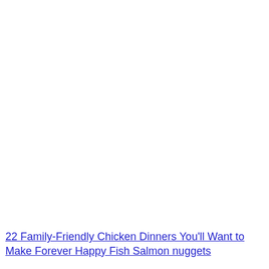22 Family-Friendly Chicken Dinners You'll Want to Make Forever Happy Fish Salmon nuggets